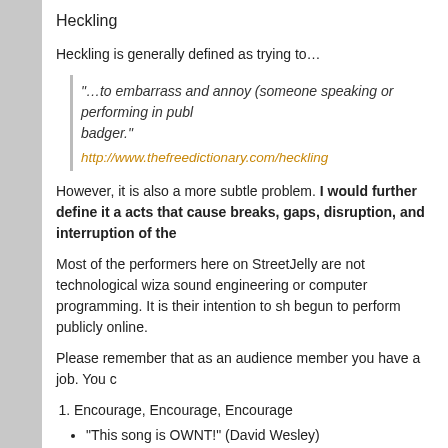Heckling
Heckling is generally defined as trying to…
"…to embarrass and annoy (someone speaking or performing in public) by questions, sarcastic remarks, or the like; badger." http://www.thefreedictionary.com/heckling
However, it is also a more subtle problem. I would further define it as acts that cause breaks, gaps, disruption, and interruption of the
Most of the performers here on StreetJelly are not technological wizards in sound engineering or computer programming. It is their intention to sh begun to perform publicly online.
Please remember that as an audience member you have a job. You c
Encourage, Encourage, Encourage
“This song is OWNT!” (David Wesley)
“Super Great”
“That song was awesome”